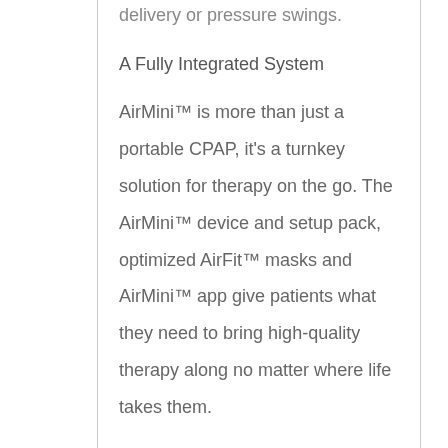delivery or pressure swings.
A Fully Integrated System
AirMini™ is more than just a portable CPAP, it's a turnkey solution for therapy on the go. The AirMini™ device and setup pack, optimized AirFit™ masks and AirMini™ app give patients what they need to bring high-quality therapy along no matter where life takes them.